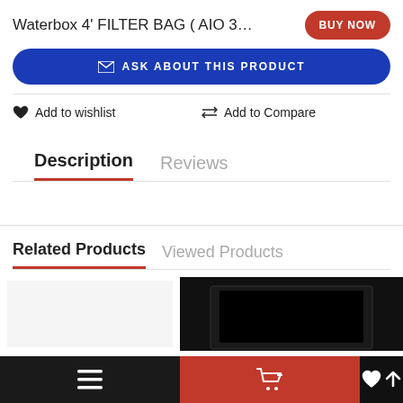Waterbox 4' FILTER BAG ( AIO 35.2, 5…
BUY NOW
✉ ASK ABOUT THIS PRODUCT
♥ Add to wishlist
⇌ Add to Compare
Description
Reviews
Related Products
Viewed Products